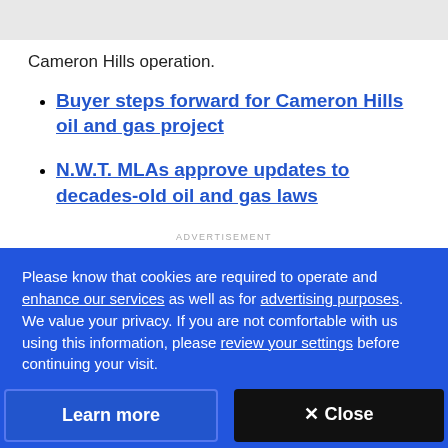Cameron Hills operation.
Buyer steps forward for Cameron Hills oil and gas project
N.W.T. MLAs approve updates to decades-old oil and gas laws
ADVERTISEMENT
Please know that cookies are required to operate and enhance our services as well as for advertising purposes. We value your privacy. If you are not comfortable with us using this information, please review your settings before continuing your visit.